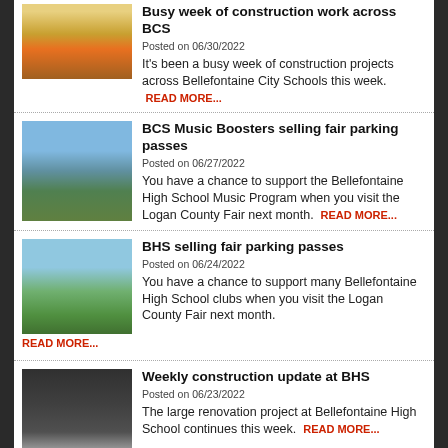Busy week of construction work across BCS
Posted on 06/30/2022
It's been a busy week of construction projects across Bellefontaine City Schools this week. READ MORE...
BCS Music Boosters selling fair parking passes
Posted on 06/27/2022
You have a chance to support the Bellefontaine High School Music Program when you visit the Logan County Fair next month. READ MORE...
BHS selling fair parking passes
Posted on 06/24/2022
You have a chance to support many Bellefontaine High School clubs when you visit the Logan County Fair next month. READ MORE...
Weekly construction update at BHS
Posted on 06/23/2022
The large renovation project at Bellefontaine High School continues this week. READ MORE...